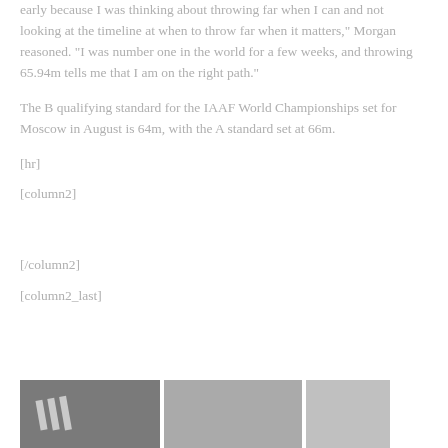early because I was thinking about throwing far when I can and not looking at the timeline at when to throw far when it matters," Morgan reasoned. "I was number one in the world for a few weeks, and throwing 65.94m tells me that I am on the right path."
The B qualifying standard for the IAAF World Championships set for Moscow in August is 64m, with the A standard set at 66m.
[hr]
[column2]
[/column2]
[column2_last]
[Figure (photo): A photo strip showing athletes, one wearing an Adidas shirt visible at the left portion.]